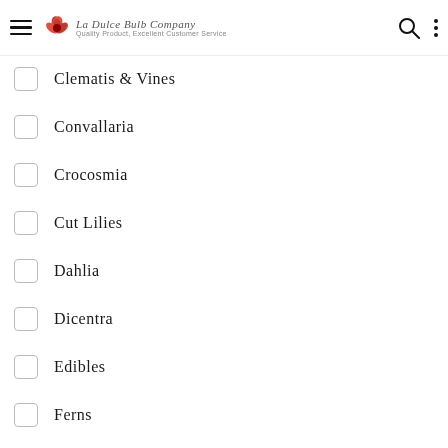La Dulce Bulb Company – Quality Product, Excellent Customer Service
Clematis & Vines
Convallaria
Crocosmia
Cut Lilies
Dahlia
Dicentra
Edibles
Ferns
Geranium
Gladiolus
Hard Goods
Hardy Hibis…